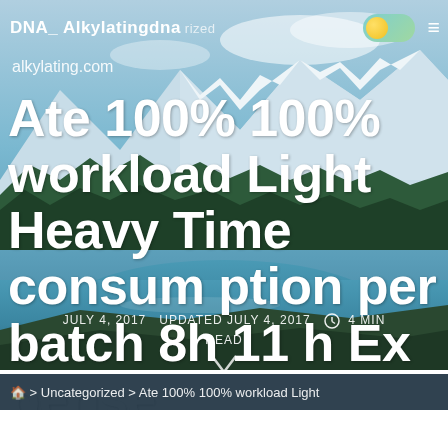DNA_ Alkylatingdna  Uncategorized
alkylating.com
Ate 100% 100% workload Light Heavy Time consumption per batch 8h 11 h Expense
JULY 4, 2017   UPDATED JULY 4, 2017   4 MIN READ
> Uncategorized > Ate 100% 100% workload Light